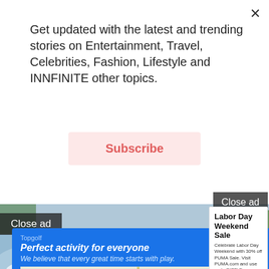Get updated with the latest and trending stories on Entertainment, Travel, Celebrities, Fashion, Lifestyle and INNFINITE other topics.
Subscribe
[Figure (photo): People in yellow life jackets whitewater rafting in red kayaks on turbulent river rapids]
Close ad
Close ad
[Figure (screenshot): Topgolf Google ad with map showing location. Headline: Perfect activity for everyone. Subtext: We believe that every great time starts with play. Store info and Directions buttons.]
[Figure (screenshot): PUMA Labor Day Weekend Sale ad. Text: Celebrate Labor Day Weekend with 30% off PUMA Sale. Visit PUMA.com and use code SIZZLE. Shop Now button.]